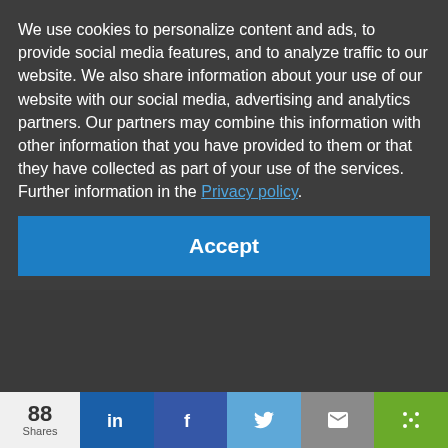We use cookies to personalize content and ads, to provide social media features, and to analyze traffic to our website. We also share information about your use of our website with our social media, advertising and analytics partners. Our partners may combine this information with other information that you have provided to them or that they have collected as part of your use of the services. Further information in the Privacy policy.
Accept
88 Shares